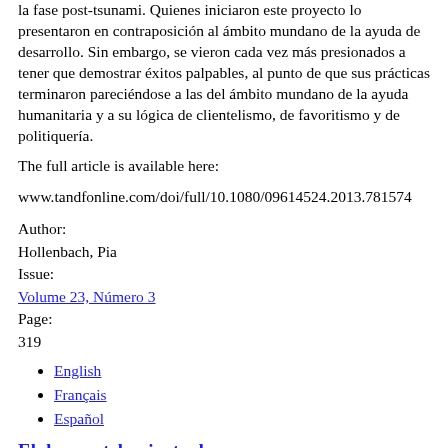la fase post-tsunami. Quienes iniciaron este proyecto lo presentaron en contraposición al ámbito mundano de la ayuda de desarrollo. Sin embargo, se vieron cada vez más presionados a tener que demostrar éxitos palpables, al punto de que sus prácticas terminaron pareciéndose a las del ámbito mundano de la ayuda humanitaria y a su lógica de clientelismo, de favoritismo y de politiquería.
The full article is available here:
www.tandfonline.com/doi/full/10.1080/09614524.2013.781574
Author:
Hollenbach, Pia
Issue:
Volume 23, Número 3
Page:
319
English
Français
Español
El desmantelamiento de represas en India: una evaluación comparativa de